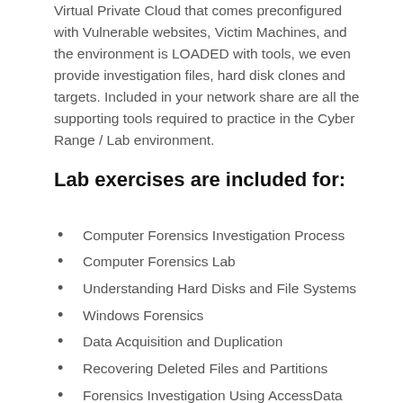Virtual Private Cloud that comes preconfigured with Vulnerable websites, Victim Machines, and the environment is LOADED with tools, we even provide investigation files, hard disk clones and targets. Included in your network share are all the supporting tools required to practice in the Cyber Range / Lab environment.
Lab exercises are included for:
Computer Forensics Investigation Process
Computer Forensics Lab
Understanding Hard Disks and File Systems
Windows Forensics
Data Acquisition and Duplication
Recovering Deleted Files and Partitions
Forensics Investigation Using AccessData FTK
Forensics Investigation Using EnCase
Steganography and Image File Forensics